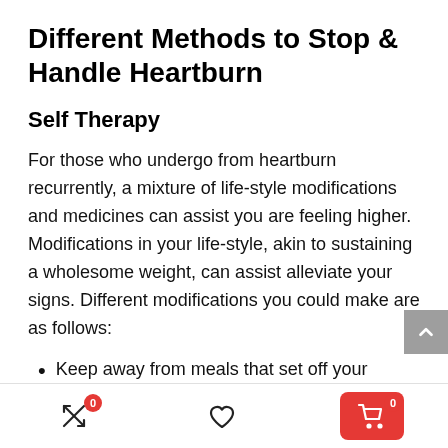Different Methods to Stop & Handle Heartburn
Self Therapy
For those who undergo from heartburn recurrently, a mixture of life-style modifications and medicines can assist you are feeling higher. Modifications in your life-style, akin to sustaining a wholesome weight, can assist alleviate your signs. Different modifications you could make are as follows:
Keep away from meals that set off your heartburn